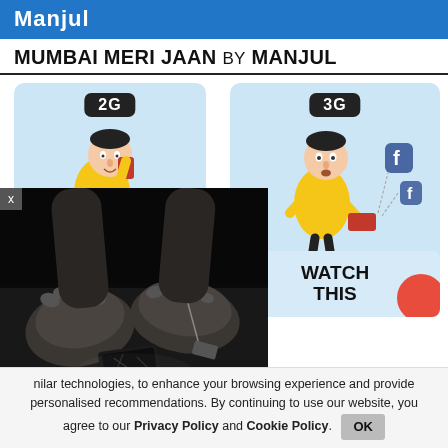Manjul
MUMBAI MERI JAAN BY MANJUL
[Figure (illustration): Comic strip with two panels. Left panel labeled '2G' shows a cartoon man in yellow shirt walking and talking on a red mobile phone. Right panel labeled '3G' shows a similar man in yellow shirt holding a tablet/phone with Facebook logos flying out.]
[Figure (photo): Dark black and white photo of feet with a toe tag, suggesting a deceased person on a floor with a broken phone nearby.]
[Figure (illustration): Partial panel with text 'WATCH THIS' and a red circle, suggesting a next panel of the comic.]
nilar technologies, to enhance your browsing experience and provide personalised recommendations. By continuing to use our website, you agree to our Privacy Policy and Cookie Policy.